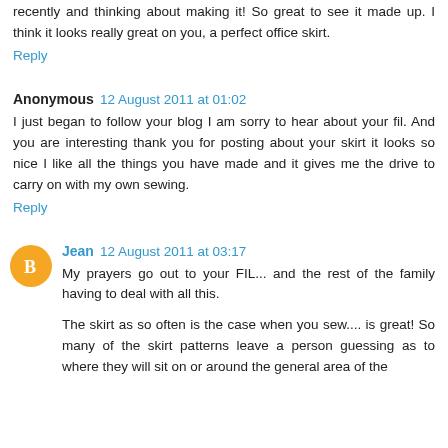recently and thinking about making it! So great to see it made up. I think it looks really great on you, a perfect office skirt.
Reply
Anonymous  12 August 2011 at 01:02
I just began to follow your blog I am sorry to hear about your fil. And you are interesting thank you for posting about your skirt it looks so nice I like all the things you have made and it gives me the drive to carry on with my own sewing.
Reply
Jean  12 August 2011 at 03:17
My prayers go out to your FIL... and the rest of the family having to deal with all this.
The skirt as so often is the case when you sew.... is great! So many of the skirt patterns leave a person guessing as to where they will sit on or around the general area of the